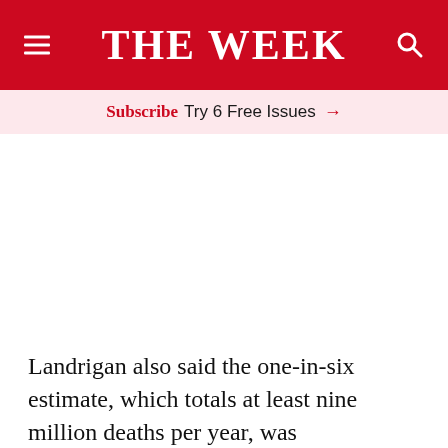THE WEEK
Subscribe  Try 6 Free Issues →
Landrigan also said the one-in-six estimate, which totals at least nine million deaths per year, was